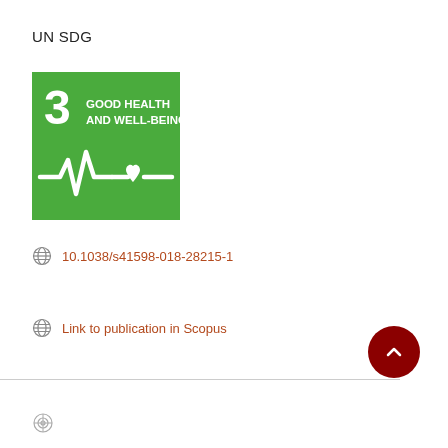UN SDG
[Figure (logo): UN SDG Goal 3 badge - Good Health and Well-Being. Green square with number 3, text 'GOOD HEALTH AND WELL-BEING', and a heartbeat/health monitor line with heart icon in white.]
10.1038/s41598-018-28215-1
Link to publication in Scopus